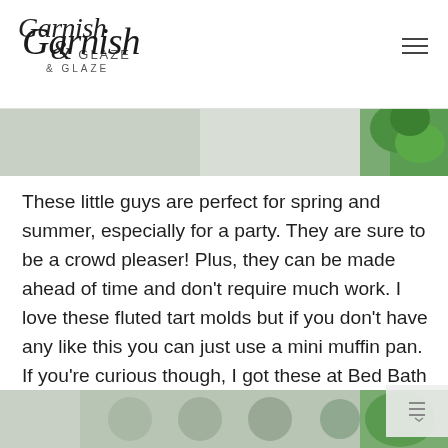Garnish & Glaze
[Figure (photo): Partial image strip at top showing green garnish/food elements on light background]
These little guys are perfect for spring and summer, especially for a party. They are sure to be a crowd pleaser! Plus, they can be made ahead of time and don't require much work. I love these fluted tart molds but if you don't have any like this you can just use a mini muffin pan. If you're curious though, I got these at Bed Bath & Beyond (love that store!) but I'm sure you can find them at lots of other kitchen stores or online.
[Figure (photo): Partial image strip at bottom showing food/baked items]